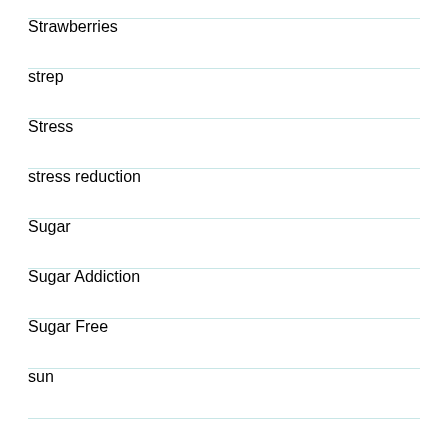Strawberries
strep
Stress
stress reduction
Sugar
Sugar Addiction
Sugar Free
sun